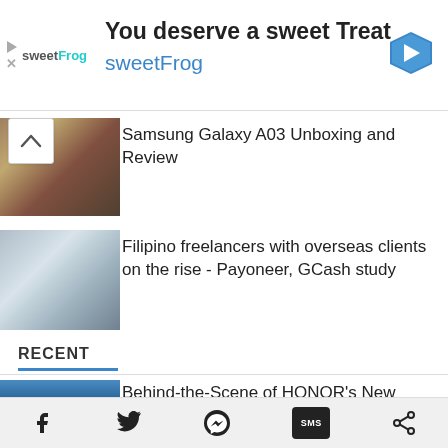[Figure (advertisement): sweetFrog advertisement banner: 'You deserve a sweet Treat' with sweetFrog logo and navigation arrow icon]
[Figure (photo): Thumbnail image of a hand holding a Samsung Galaxy A03 smartphone]
Samsung Galaxy A03 Unboxing and Review
[Figure (photo): Thumbnail image of people working in a co-working space with large windows]
Filipino freelancers with overseas clients on the rise - Payoneer, GCash study
RECENT
[Figure (photo): Thumbnail image of a cityscape with mountains in the background, related to HONOR manufacturing industrial park]
Behind-the-Scene of HONOR’s New Intelligent Manufacturing Industrial Park
Social share bar with Facebook, Twitter, Messenger, SMS, and share icons